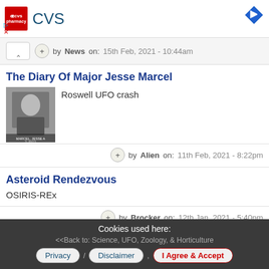[Figure (logo): CVS Pharmacy logo with red box and CVS text in blue]
by News on: 15th Feb, 2021 - 10:44am
The Diary Of Major Jesse Marcel
Roswell UFO crash
[Figure (photo): Black and white photo of Major Jesse Marcel in military uniform]
by Alien on: 11th Feb, 2021 - 8:22pm
Asteroid Rendezvous
OSIRIS-REx
by Brocker on: 12th Jan, 2021 - 5:40pm
Sponsored Links:
Next >>
<<Back to: Science, UFO, Zoology, & Horticulture
Cookies used here:
Privacy / Disclaimer , I Agree & Accept